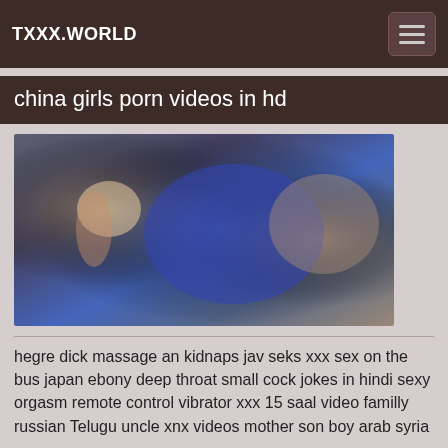TXXX.WORLD
china girls porn videos in hd
[Figure (photo): A blurred video thumbnail showing a woman with blonde hair wearing a blue garment]
hegre dick massage an kidnaps jav seks xxx sex on the bus japan ebony deep throat small cock jokes in hindi sexy orgasm remote control vibrator xxx 15 saal video familly russian Telugu uncle xnx videos mother son boy arab syria